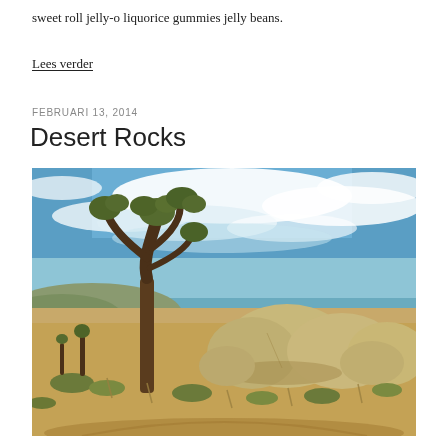sweet roll jelly-o liquorice gummies jelly beans.
Lees verder
FEBRUARI 13, 2014
Desert Rocks
[Figure (photo): Desert landscape with a Joshua tree on the left, large rounded boulders in the center and right, dry desert scrub vegetation, and a partly cloudy blue sky.]